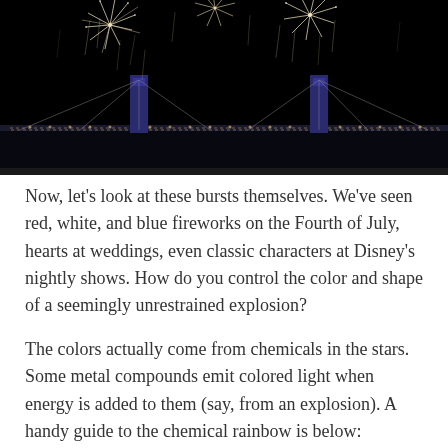[Figure (photo): Nighttime fireworks display over an illuminated bridge. Large golden/white firework bursts fill the dark sky above the bridge structure which is lit with blue and white lights.]
Now, let's look at these bursts themselves. We've seen red, white, and blue fireworks on the Fourth of July, hearts at weddings, even classic characters at Disney's nightly shows. How do you control the color and shape of a seemingly unrestrained explosion?
The colors actually come from chemicals in the stars. Some metal compounds emit colored light when energy is added to them (say, from an explosion). A handy guide to the chemical rainbow is below: